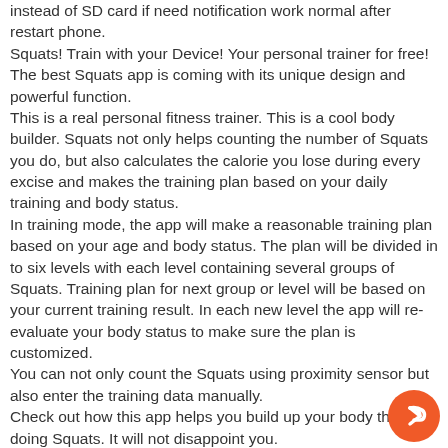instead of SD card if need notification work normal after restart phone. Squats! Train with your Device! Your personal trainer for free! The best Squats app is coming with its unique design and powerful function. This is a real personal fitness trainer. This is a cool body builder. Squats not only helps counting the number of Squats you do, but also calculates the calorie you lose during every excise and makes the training plan based on your daily training and body status. In training mode, the app will make a reasonable training plan based on your age and body status. The plan will be divided in to six levels with each level containing several groups of Squats. Training plan for next group or level will be based on your current training result. In each new level the app will re-evaluate your body status to make sure the plan is customized. You can not only count the Squats using proximity sensor but also enter the training data manually. Check out how this app helps you build up your body throug doing Squats. It will not disappoint you.
[Figure (other): Orange circular share/reply button in the bottom-right corner]